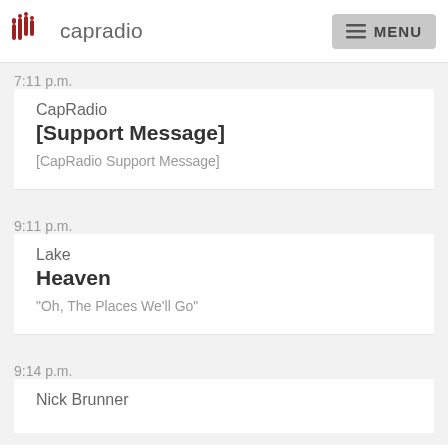capradio MENU
7:11 p.m.
CapRadio
[Support Message]
[CapRadio Support Message]
9:11 p.m.
Lake
Heaven
"Oh, The Places We'll Go"
9:14 p.m.
Nick Brunner